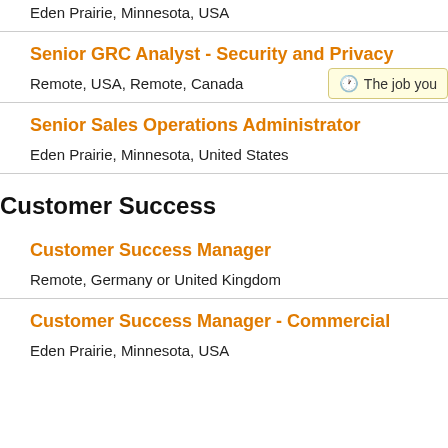Eden Prairie, Minnesota, USA
Senior GRC Analyst - Security and Privacy
Remote, USA, Remote, Canada
Senior Sales Operations Administrator
Eden Prairie, Minnesota, United States
Customer Success
Customer Success Manager
Remote, Germany or United Kingdom
Customer Success Manager - Commercial
Eden Prairie, Minnesota, USA